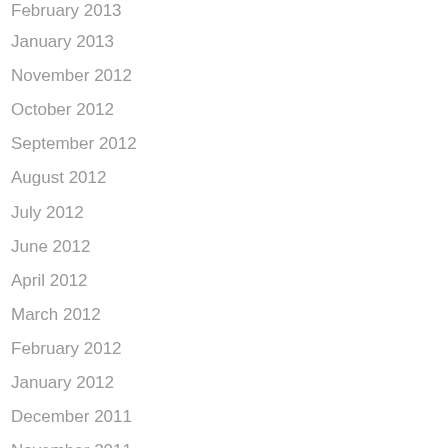February 2013
January 2013
November 2012
October 2012
September 2012
August 2012
July 2012
June 2012
April 2012
March 2012
February 2012
January 2012
December 2011
November 2011
October 2011